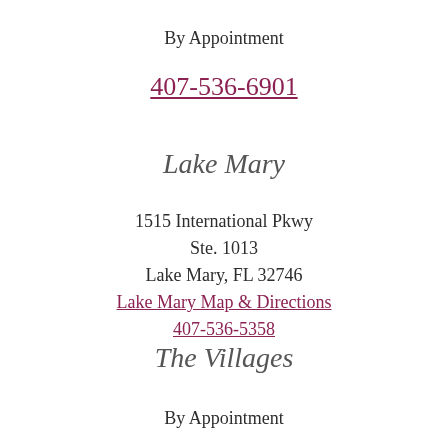By Appointment
407-536-6901
Lake Mary
1515 International Pkwy
Ste. 1013
Lake Mary, FL 32746
Lake Mary Map & Directions
407-536-5358
The Villages
By Appointment